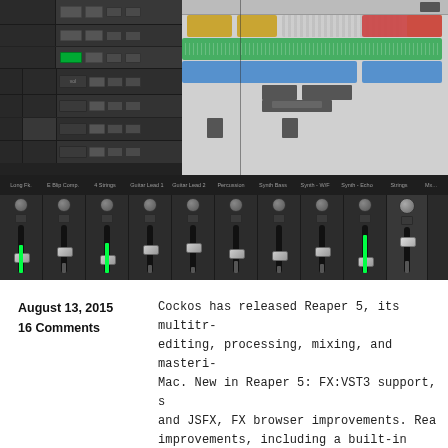[Figure (screenshot): REAPER DAW software interface showing multitrack arrangement view (top) with colored audio/MIDI clips on a dark background, and a mixer section (bottom) with multiple channel strips featuring faders, knobs, and green level meters.]
August 13, 2015
16 Comments
Cockos has released Reaper 5, its multitr- editing, processing, mixing, and masteri- Mac. New in Reaper 5: FX:VST3 support, s and JSFX, FX browser improvements. Rea improvements, including a built-in deve and debugging scripts in LUA, EEL, or Pyt